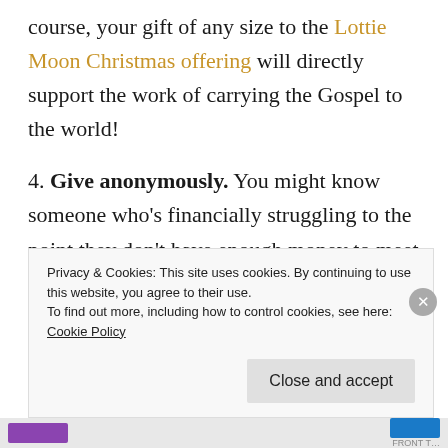course, your gift of any size to the Lottie Moon Christmas offering will directly support the work of carrying the Gospel to the world!
4. Give anonymously. You might know someone who's financially struggling to the point they don't have enough money to meet their basic needs. There's nothing wrong with wanting to help, but suppose you are led to give anonymously. Through
Privacy & Cookies: This site uses cookies. By continuing to use this website, you agree to their use.
To find out more, including how to control cookies, see here: Cookie Policy
Close and accept